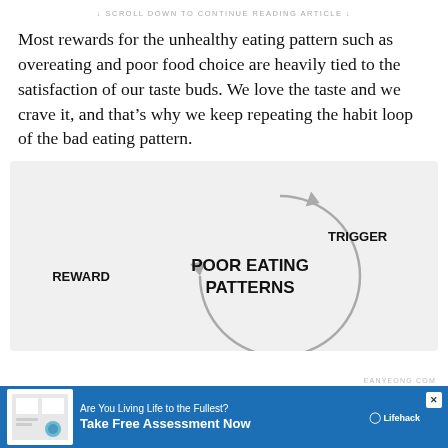↓ SCROLL DOWN TO CONTINUE READING ARTICLE ↓
Most rewards for the unhealthy eating pattern such as overeating and poor food choice are heavily tied to the satisfaction of our taste buds. We love the taste and we crave it, and that's why we keep repeating the habit loop of the bad eating pattern.
[Figure (flowchart): A circular diagram showing the habit loop for poor eating patterns. Three nodes arranged in a circle: TRIGGER (upper right), POOR EATING PATTERNS (center), and REWARD (left). Arrows form a loop connecting them clockwise.]
EANYEONG.COM